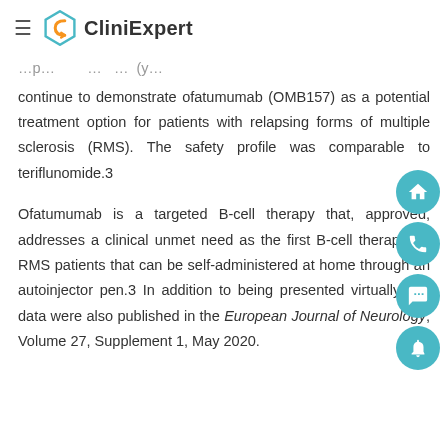CliniExpert
continue to demonstrate ofatumumab (OMB157) as a potential treatment option for patients with relapsing forms of multiple sclerosis (RMS). The safety profile was comparable to teriflunomide.3
Ofatumumab is a targeted B-cell therapy that, approved, addresses a clinical unmet need as the first B-cell therapy for RMS patients that can be self-administered at home through an autoinjector pen.3 In addition to being presented virtually, the data were also published in the European Journal of Neurology, Volume 27, Supplement 1, May 2020.